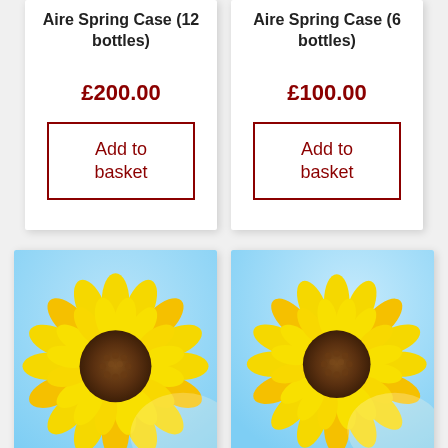Aire Spring Case (12 bottles)
£200.00
Add to basket
Aire Spring Case (6 bottles)
£100.00
Add to basket
[Figure (photo): Sunflower with yellow petals and brown center against a light blue sky background]
[Figure (photo): Sunflower with yellow petals and brown center against a light blue sky background]